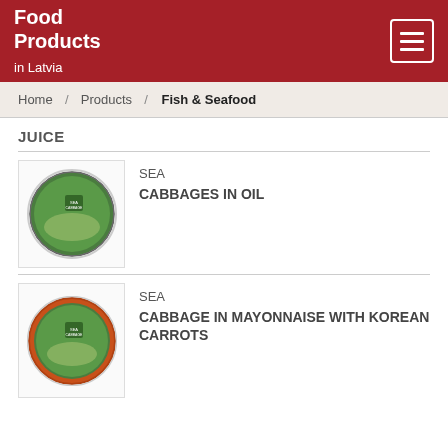Food Products in Latvia
Home / Products / Fish & Seafood
JUICE
[Figure (photo): Can of sea cabbages in oil product]
SEA
CABBAGES IN OIL
[Figure (photo): Can of cabbage in mayonnaise with Korean carrots product]
SEA
CABBAGE IN MAYONNAISE WITH KOREAN CARROTS